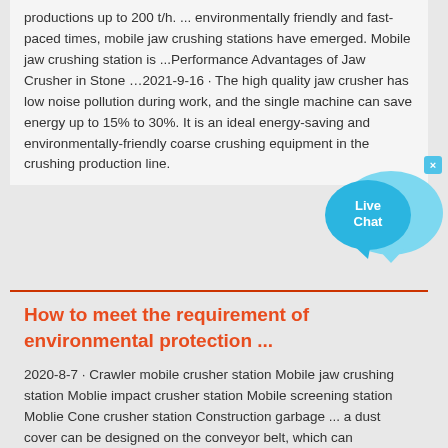productions up to 200 t/h. ... environmentally friendly and fast-paced times, mobile jaw crushing stations have emerged. Mobile jaw crushing station is ...Performance Advantages of Jaw Crusher in Stone …2021-9-16 · The high quality jaw crusher has low noise pollution during work, and the single machine can save energy up to 15% to 30%. It is an ideal energy-saving and environmentally-friendly coarse crushing equipment in the crushing production line.
[Figure (illustration): Live Chat button widget — two overlapping speech bubble shapes in cyan/blue with 'Live Chat' text and a close (x) button]
How to meet the requirement of environmental protection ...
2020-8-7 · Crawler mobile crusher station Mobile jaw crushing station Moblie impact crusher station Mobile screening station Moblie Cone crusher station Construction garbage ... a dust cover can be designed on the conveyor belt, which can effectively reduce more than 60% of dust, which is more environmentally friendly; 4. Separate equipment noise ... pany Profile wanted-Choose Company